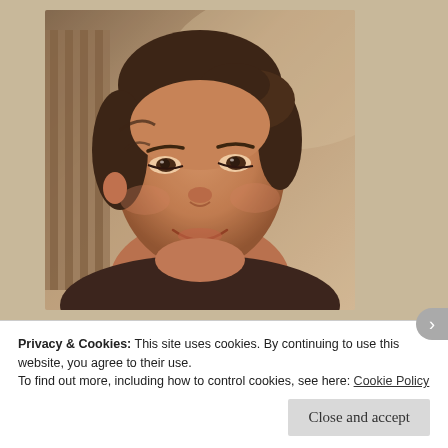[Figure (photo): Portrait photo of a young woman with dark hair pulled up, smiling, with warm vintage/sepia-toned filter. Background suggests indoor setting with wooden elements.]
Rock+Pillar sells handmade goods from rural artisans high in the mountains of Peru. They're driven by the philosophy that a business relationship can be mutually
Privacy & Cookies: This site uses cookies. By continuing to use this website, you agree to their use.
To find out more, including how to control cookies, see here: Cookie Policy
Close and accept